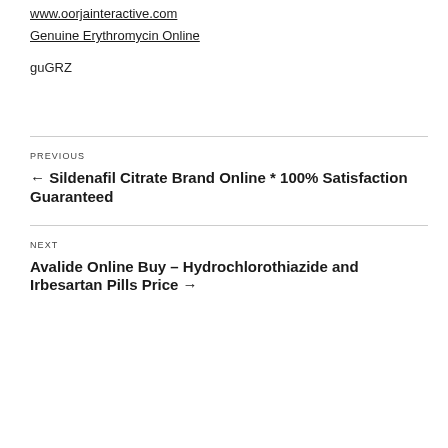www.oorjainteractive.com
Genuine Erythromycin Online
guGRZ
PREVIOUS
← Sildenafil Citrate Brand Online * 100% Satisfaction Guaranteed
NEXT
Avalide Online Buy – Hydrochlorothiazide and Irbesartan Pills Price →